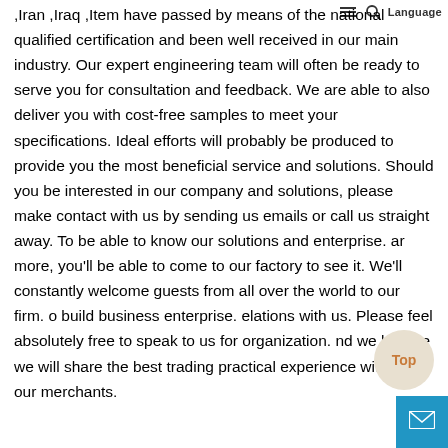Language
,Iran ,Iraq ,Item have passed by means of the national qualified certification and been well received in our main industry. Our expert engineering team will often be ready to serve you for consultation and feedback. We are able to also deliver you with cost-free samples to meet your specifications. Ideal efforts will probably be produced to provide you the most beneficial service and solutions. Should you be interested in our company and solutions, please make contact with us by sending us emails or call us straight away. To be able to know our solutions and enterprise. ar more, you'll be able to come to our factory to see it. We'll constantly welcome guests from all over the world to our firm. o build business enterprise. elations with us. Please feel absolutely free to speak to us for organization. nd we believe we will share the best trading practical experience with all our merchants.